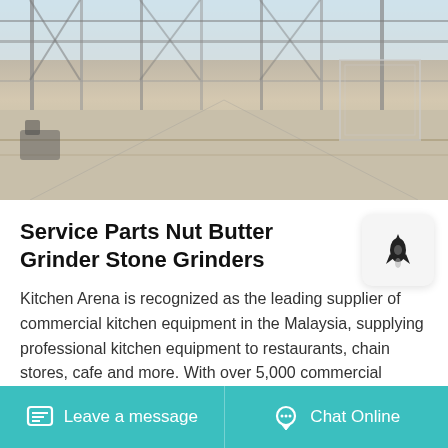[Figure (photo): Industrial steel structure/greenhouse framework construction site with sandy ground, metal columns and cross beams, outdoor setting with pale sky]
Service Parts Nut Butter Grinder Stone Grinders
Kitchen Arena is recognized as the leading supplier of commercial kitchen equipment in the Malaysia, supplying professional kitchen equipment to restaurants, chain stores, cafe and more. With over 5,000 commercial kitchen equipment products available online, were
Leave a message  |  Chat Online